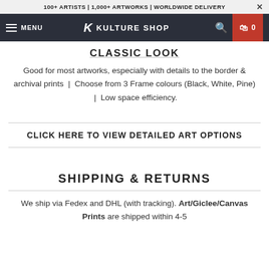100+ ARTISTS | 1,000+ ARTWORKS | WORLDWIDE DELIVERY
MENU  K  KULTURE SHOP  0
CLASSIC LOOK
Good for most artworks, especially with details to the border & archival prints  |  Choose from 3 Frame colours (Black, White, Pine)  |  Low space efficiency.
CLICK HERE TO VIEW DETAILED ART OPTIONS
SHIPPING & RETURNS
We ship via Fedex and DHL (with tracking). Art/Giclee/Canvas Prints are shipped within 4-5